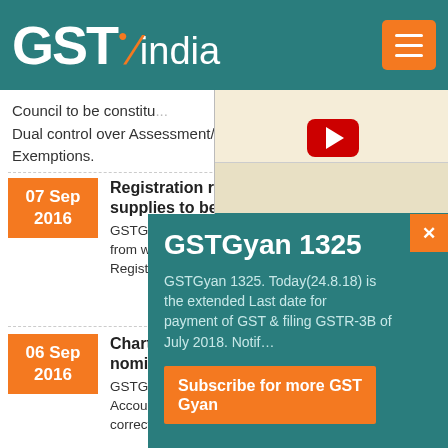[Figure (logo): GSTIndia logo on teal header bar with hamburger menu button]
Council to be constituted... Dual control over Assessment/ Scr... Exemptions.
[Figure (screenshot): Video thumbnail showing a document/form screenshot with YouTube play button]
E-Way Bill Automation
07 Sep 2016
Registration required... supplies to be made...
GSTGyan 1018... from where supplies to be m... Registration & 1 Annual Ret...
[Figure (infographic): GSTGyan 1325 popup overlay with teal background]
GSTGyan 1325
GSTGyan 1325. Today(24.8.18) is the extended Last date for payment of GST & filing GSTR-3B of July 2018. Notif...
Subscribe for more GST Gyan
06 Sep 2016
Chartered/ C... nominated f...
GSTGyan 1017... Accountant for Special Audi... correctly declared or excess credit availed.